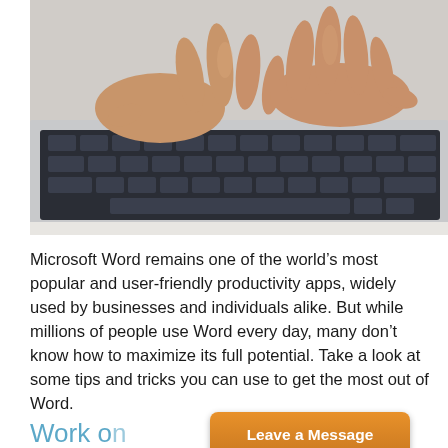[Figure (photo): Close-up photo of two hands typing on a laptop keyboard against a white background]
Microsoft Word remains one of the world's most popular and user-friendly productivity apps, widely used by businesses and individuals alike. But while millions of people use Word every day, many don't know how to maximize its full potential. Take a look at some tips and tricks you can use to get the most out of Word.
Work on